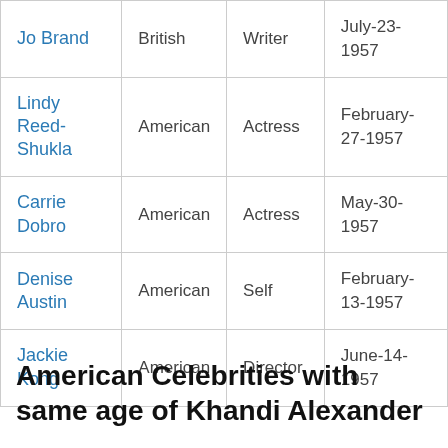| Jo Brand | British | Writer | July-23-1957 |
| Lindy Reed-Shukla | American | Actress | February-27-1957 |
| Carrie Dobro | American | Actress | May-30-1957 |
| Denise Austin | American | Self | February-13-1957 |
| Jackie Kong | American | Director | June-14-1957 |
American Celebrities with same age of Khandi Alexander